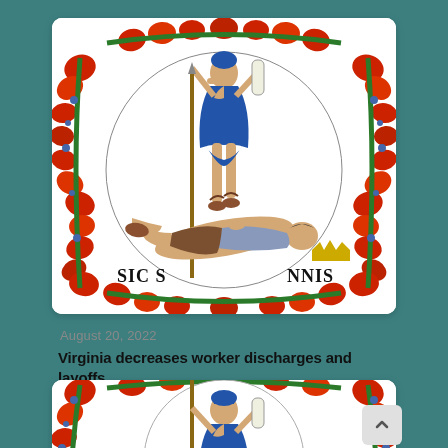[Figure (illustration): Virginia state seal showing the goddess Virtus standing over a defeated tyranny figure, with the motto 'SIC SEMPER TYRANNIS' visible along the bottom, surrounded by an ornate wreath of red flowers and green leaves]
August 20, 2022
Virginia decreases worker discharges and layoffs
[Figure (illustration): Partial view of Virginia state seal (second card, bottom of page), showing the top portion of the seal with the goddess figure and floral wreath border]